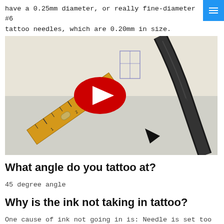have a 0.25mm diameter, or really fine-diameter #6 tattoo needles, which are 0.20mm in size.
[Figure (screenshot): YouTube video thumbnail showing a ruler and tattoo needle, with a red YouTube play button in the center.]
What angle do you tattoo at?
45 degree angle
Why is the ink not taking in tattoo?
One cause of ink not going in is: Needle is set too